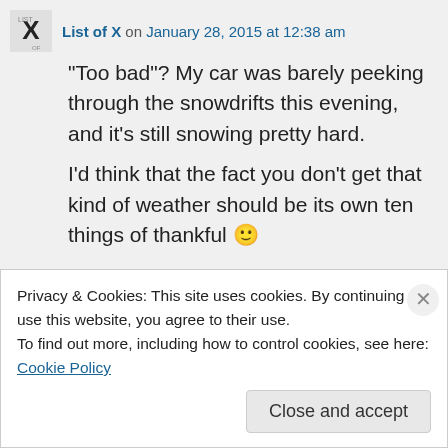List of X on January 28, 2015 at 12:38 am
“Too bad”? My car was barely peeking through the snowdrifts this evening, and it’s still snowing pretty hard.
I’d think that the fact you don’t get that kind of weather should be its own ten things of thankful 🙂
★ Liked by 1 person
👍 0 👎 0 ℹ Rate This
Privacy & Cookies: This site uses cookies. By continuing to use this website, you agree to their use.
To find out more, including how to control cookies, see here: Cookie Policy